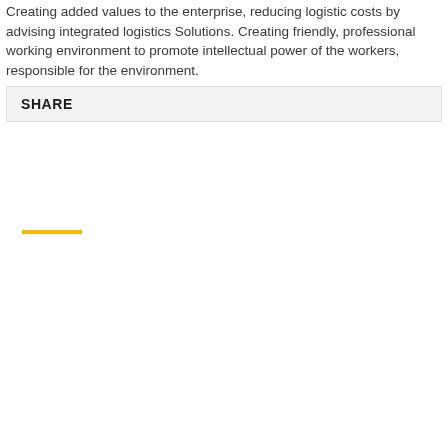Creating added values to the enterprise, reducing logistic costs by advising integrated logistics Solutions. Creating friendly, professional working environment to promote intellectual power of the workers, responsible for the environment.
SHARE
[Figure (other): A short horizontal yellow/gold decorative line separator]